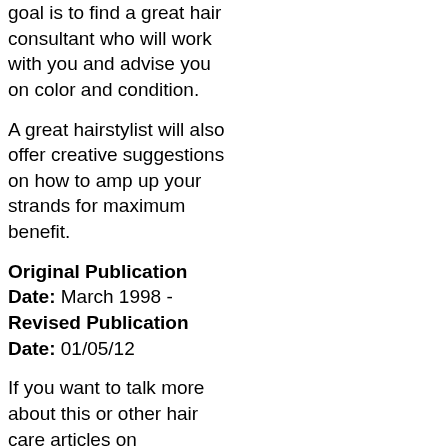goal is to find a great hair consultant who will work with you and advise you on color and condition.
A great hairstylist will also offer creative suggestions on how to amp up your strands for maximum benefit.
Original Publication Date: March 1998 - Revised Publication Date: 01/05/12
If you want to talk more about this or other hair care articles on HairBoutique.com